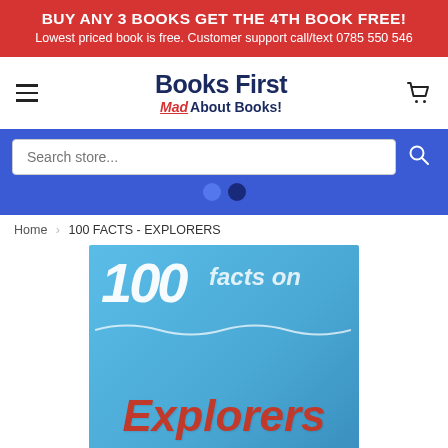BUY ANY 3 BOOKS GET THE 4TH BOOK FREE! Lowest priced book is free. Customer support call/text 0785 550 546
[Figure (logo): Books First logo with 'Mad About Books!' tagline in navy and red]
Search store...
Home › 100 FACTS - EXPLORERS
[Figure (photo): Book cover of '100 facts on Explorers' with blue background, white '100 facts on' text, and red 'Explorers' title]